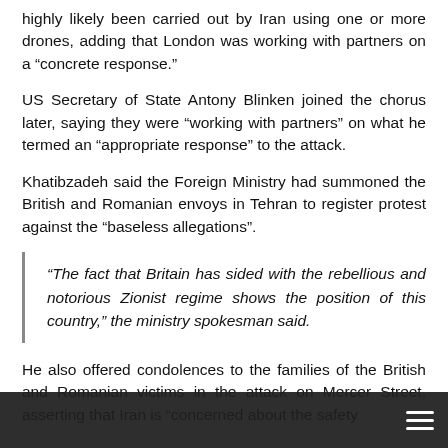highly likely been carried out by Iran using one or more drones, adding that London was working with partners on a "concrete response."
US Secretary of State Antony Blinken joined the chorus later, saying they were "working with partners" on what he termed an "appropriate response" to the attack.
Khatibzadeh said the Foreign Ministry had summoned the British and Romanian envoys in Tehran to register protest against the "baseless allegations".
“The fact that Britain has sided with the rebellious and notorious Zionist regime shows the position of this country,” the ministry spokesman said.
He also offered condolences to the families of the British and Romanian victims in the attack on Mercer Street, asserting that Iran is “concerned about the safety